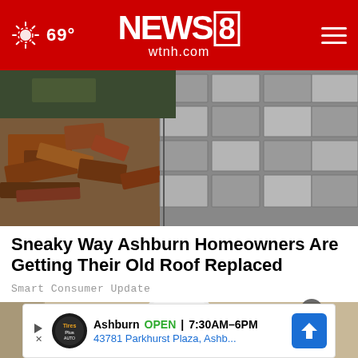NEWS 8 wtnh.com — 69°
[Figure (photo): Aerial photo of old roof shingles being replaced, debris and new slate-like tiles visible]
Sneaky Way Ashburn Homeowners Are Getting Their Old Roof Replaced
Smart Consumer Update
[Figure (photo): Close-up of a white round smart home security camera mounted on a beige wall]
[Figure (screenshot): Advertisement: Ashburn OPEN 7:30AM–6PM, 43781 Parkhurst Plaza, Ashb... with Tires Plus Auto logo and blue navigation arrow]